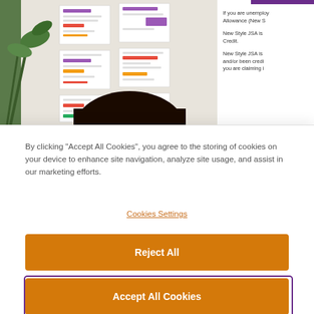[Figure (photo): Person viewed from above looking at colorful documents/papers on a wall, with green plants visible. Only the top of the head is visible.]
If you are unemployed, you may be able to claim New Style Jobseeker's Allowance (New S...
New Style JSA is ... Credit.
New Style JSA is ... and/or been credi... you are claiming i...
By clicking “Accept All Cookies”, you agree to the storing of cookies on your device to enhance site navigation, analyze site usage, and assist in our marketing efforts.
Cookies Settings
Reject All
Accept All Cookies